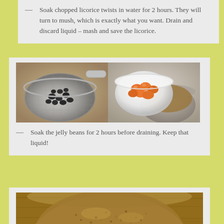Soak chopped licorice twists in water for 2 hours. They will turn to mush, which is exactly what you want. Drain and discard liquid – mash and save the licorice.
[Figure (photo): Two photos side by side: left shows dark seeds/beans in a metal mesh strainer; right shows orange jelly beans in a white bowl next to a pot with brown liquid.]
Soak the jelly beans for 2 hours before draining. Keep that liquid!
[Figure (photo): Close-up of a bowl filled with brown granular mixture, viewed from above.]